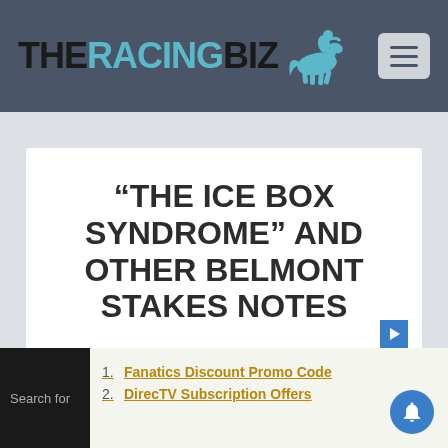[Figure (logo): TheRacingBiz logo with horse and rider silhouette, dark header bar with menu icon]
“THE ICE BOX SYNDROME” AND OTHER BELMONT STAKES NOTES
Posted by Frank Vespe | Jun 6, 2014 | Breaking, Regionwide, Top Stories | 0 | ★☆☆☆☆
1. Fanatics Discount Promo Code
2. DirecTV Subscription Offers
Search for